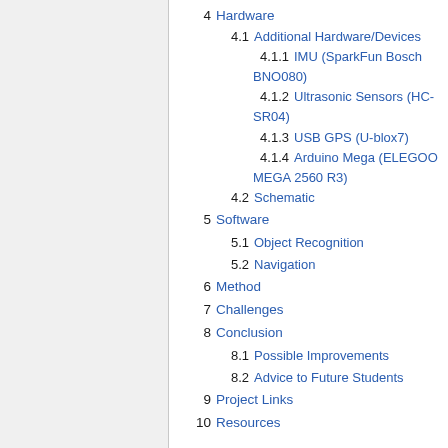4  Hardware
4.1  Additional Hardware/Devices
4.1.1  IMU (SparkFun Bosch BNO080)
4.1.2  Ultrasonic Sensors (HC-SR04)
4.1.3  USB GPS (U-blox7)
4.1.4  Arduino Mega (ELEGOO MEGA 2560 R3)
4.2  Schematic
5  Software
5.1  Object Recognition
5.2  Navigation
6  Method
7  Challenges
8  Conclusion
8.1  Possible Improvements
8.2  Advice to Future Students
9  Project Links
10  Resources